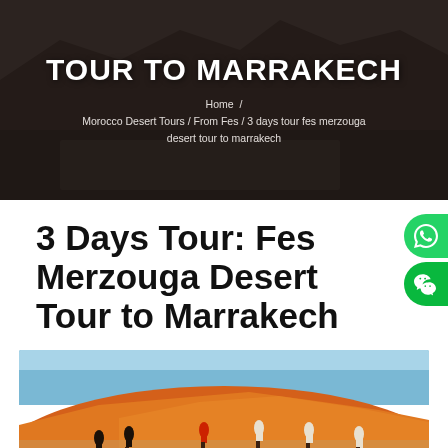[Figure (photo): Dark aerial/mountain landscape photo used as hero banner background]
TOUR TO MARRAKECH
Home / Morocco Desert Tours / From Fes / 3 days tour fes merzouga desert tour to marrakech
3 Days Tour: Fes Merzouga Desert Tour to Marrakech
[Figure (photo): People riding camels on large orange sand dunes under blue sky in Merzouga desert, Morocco]